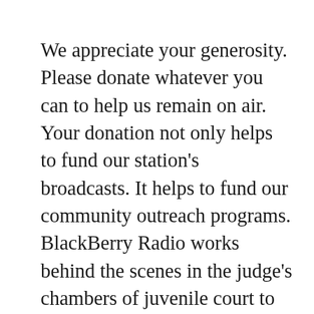We appreciate your generosity. Please donate whatever you can to help us remain on air. Your donation not only helps to fund our station's broadcasts. It helps to fund our community outreach programs. BlackBerry Radio works behind the scenes in the judge's chambers of juvenile court to offer an alternative to probation violations. We teach radio and broadcasting to give young adults a new perspective on life, in our hopes of healing the community and the world. Our fathers program Custody Advocate, helps dads and  moms get more time with their children through our airtight Parenting Plans